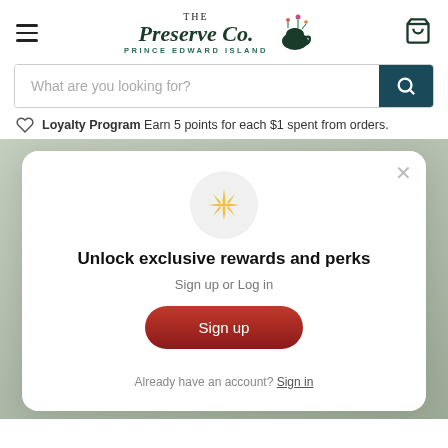[Figure (logo): The Preserve Co. Prince Edward Island logo with teapot and floral decorations]
What are you looking for?
Loyalty Program Earn 5 points for each $1 spent from orders.
[Figure (screenshot): Modal popup with sparkle icon, title 'Unlock exclusive rewards and perks', Sign up or Log in text, a red Sign up button, and Already have an account? Sign in link]